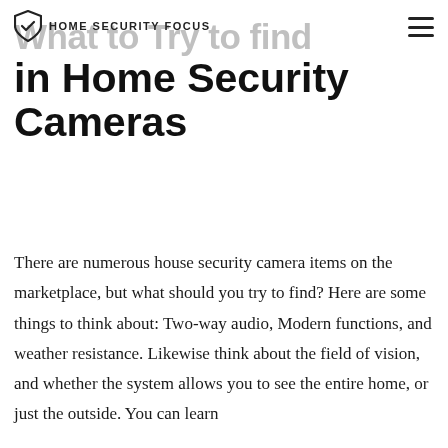HOME SECURITY FOCUS
What to Try to find in Home Security Cameras
There are numerous house security camera items on the marketplace, but what should you try to find? Here are some things to think about: Two-way audio, Modern functions, and weather resistance. Likewise think about the field of vision, and whether the system allows you to see the entire home, or just the outside. You can learn